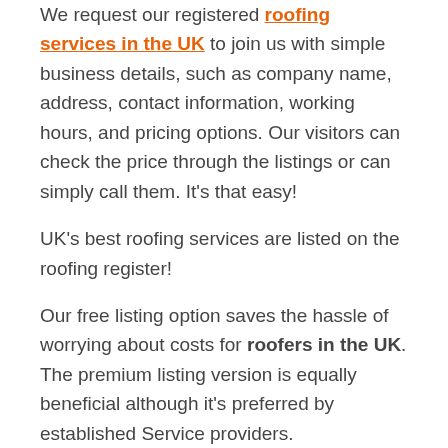We request our registered roofing services in the UK to join us with simple business details, such as company name, address, contact information, working hours, and pricing options. Our visitors can check the price through the listings or can simply call them. It's that easy!
UK's best roofing services are listed on the roofing register!
Our free listing option saves the hassle of worrying about costs for roofers in the UK. The premium listing version is equally beneficial although it's preferred by established Service providers.
We strive to bring the longest list of willing clients and bridge the gap between them and the Registered Services.
We only ask our registered roofers in the UK to be vigilant enough to keep the listed business information updated